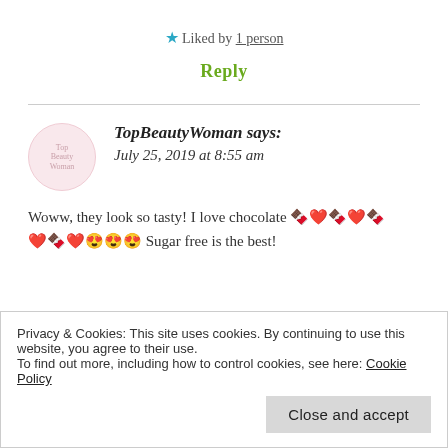★ Liked by 1 person
Reply
TopBeautyWoman says: July 25, 2019 at 8:55 am
Woww, they look so tasty! I love chocolate 🍫❤️🍫❤️🍫❤️😍😍😍 Sugar free is the best!
Privacy & Cookies: This site uses cookies. By continuing to use this website, you agree to their use.
To find out more, including how to control cookies, see here: Cookie Policy
Close and accept